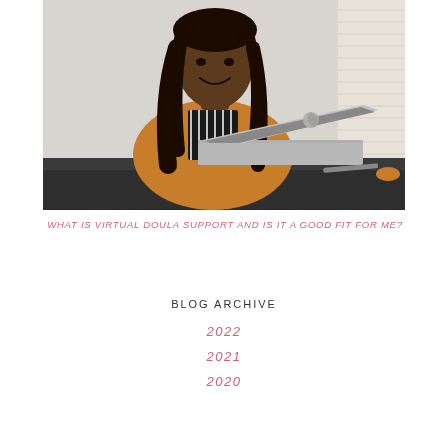[Figure (photo): A Black woman with long braided hair smiling, wearing an orange cardigan and striped shirt, sitting at a dark desk with an Apple MacBook laptop open in front of her, near a window with blinds.]
WHAT IS VIRTUAL DOULA SUPPORT AND IS IT A GOOD FIT FOR ME?
BLOG ARCHIVE
2022
2021
2020